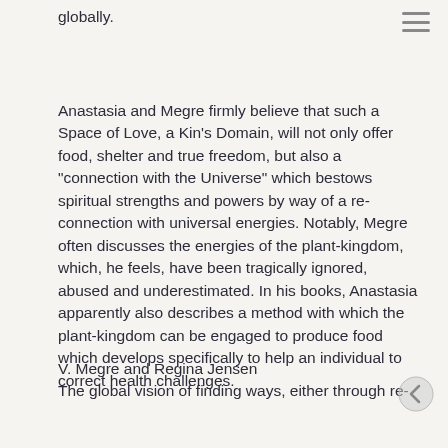running the center, now reaches and contains globally.
Anastasia and Megre firmly believe that such a Space of Love, a Kin's Domain, will not only offer food, shelter and true freedom, but also a "connection with the Universe" which bestows spiritual strengths and powers by way of a re-connection with universal energies. Notably, Megre often discusses the energies of the plant-kingdom, which, he feels, have been tragically ignored, abused and underestimated. In his books, Anastasia apparently also describes a method with which the plant-kingdom can be engaged to produce food which develops specifically to help an individual to correct health challenges.
V. Megre and Regina Jensen
The global vision of finding ways, either through re-